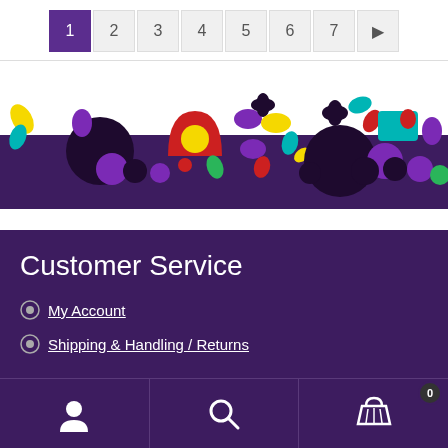1 2 3 4 5 6 7 ▶
[Figure (illustration): Decorative colorful geometric shapes and abstract characters arranged in a row, with dark purple, red, yellow, teal, and purple colors, forming a stylized banner.]
Customer Service
My Account
Shipping & Handling / Returns
User icon | Search icon | Cart icon (0)